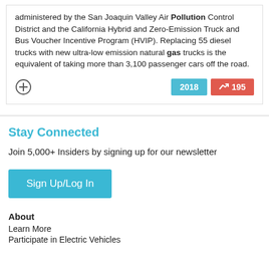administered by the San Joaquin Valley Air Pollution Control District and the California Hybrid and Zero-Emission Truck and Bus Voucher Incentive Program (HVIP). Replacing 55 diesel trucks with new ultra-low emission natural gas trucks is the equivalent of taking more than 3,100 passenger cars off the road.
2018  195
Stay Connected
Join 5,000+ Insiders by signing up for our newsletter
Sign Up/Log In
About
Learn More
Participate in Electric Vehicles